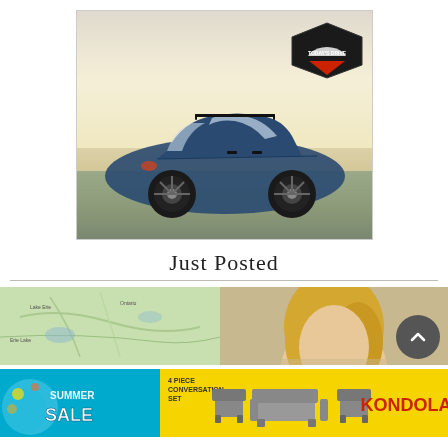[Figure (photo): Blue Subaru crossover SUV photographed from the side in an outdoor setting at dusk/dawn, with a 'Today's Drive' logo badge in the upper right corner of the image.]
Just Posted
[Figure (map): Thumbnail map image showing a geographic region with green terrain.]
[Figure (photo): Partial photo of a person with blonde hair against a beige background.]
[Figure (illustration): Advertisement banner for Kondolas furniture store featuring a Summer Sale promotion with patio furniture set visible. Teal and yellow colored banner with 'SUMMER SALE' text and '4 PIECE CONVERSATION SET' and 'KONDOLAS' branding.]